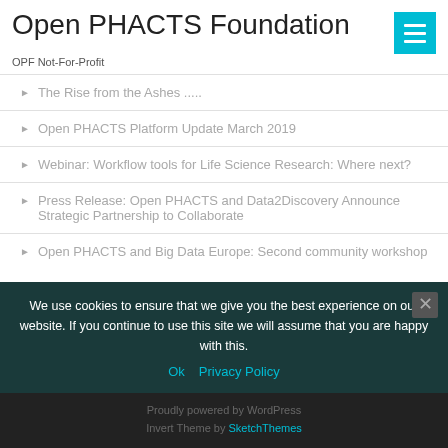Open PHACTS Foundation
OPF Not-For-Profit
The Rise from the Ashes .....
Open PHACTS Platform Update March 2019
Webinar: Workflow tools for Life Science Research: Where next?
Press Release: Open PHACTS and Data2Discovery Announce Strategic Partnership to Collaborate
Open PHACTS and Big Data Europe: Second community workshop
Recent Comments
We use cookies to ensure that we give you the best experience on our website. If you continue to use this site we will assume that you are happy with this.
Ok  Privacy Policy
Proudly powered by WordPress
Invert Theme by SketchThemes